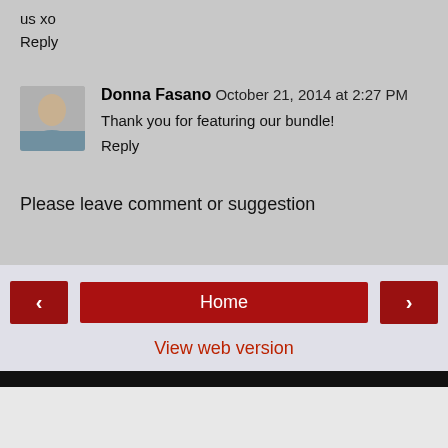us xo
Reply
Donna Fasano  October 21, 2014 at 2:27 PM
Thank you for featuring our bundle!
Reply
Please leave comment or suggestion
Home
View web version